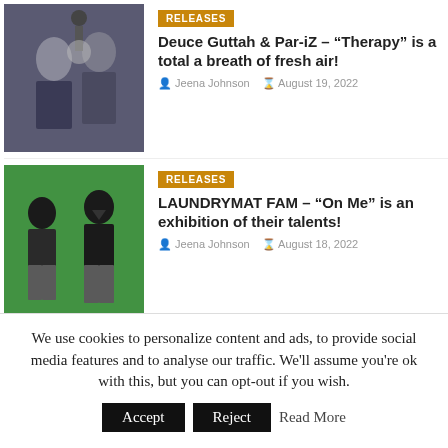[Figure (photo): Two people in a studio setting with a light above them]
[Figure (other): RELEASES badge - orange background]
Deuce Guttah & Par-iZ – “Therapy” is a total a breath of fresh air!
Jeena Johnson   August 19, 2022
[Figure (photo): Two people standing in front of a green screen backdrop]
[Figure (other): RELEASES badge - orange background]
LAUNDRYMAT FAM – “On Me” is an exhibition of their talents!
Jeena Johnson   August 18, 2022
[Figure (photo): Person wearing a blue cap outdoors]
[Figure (other): RELEASES badge - orange background]
BIGSAM – “Big Difference”
We use cookies to personalize content and ads, to provide social media features and to analyse our traffic. We'll assume you're ok with this, but you can opt-out if you wish.  Accept  Reject  Read More